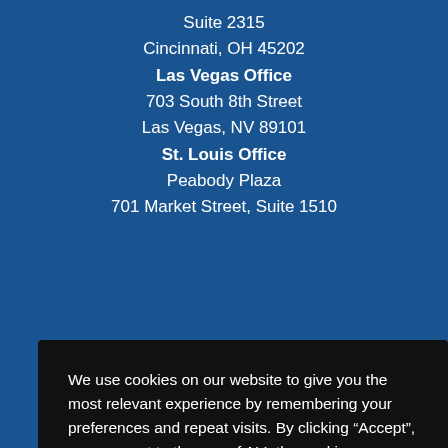Suite 2315
Cincinnati, OH 45202
Las Vegas Office
703 South 8th Street
Las Vegas, NV 89101
St. Louis Office
Peabody Plaza
701 Market Street, Suite 1510
We use cookies on our website to give you the most relevant experience by remembering your preferences and repeat visits. By clicking “Accept”, you consent to the use of ALL the cookies.
Cookie settings
ACCEPT